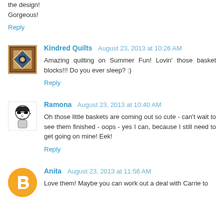the design!
Gorgeous!
Reply
Kindred Quilts  August 23, 2013 at 10:26 AM
Amazing quilting on Summer Fun! Lovin' those basket blocks!!! Do you ever sleep? :)
Reply
Ramona  August 23, 2013 at 10:40 AM
Oh those little baskets are coming out so cute - can't wait to see them finished - oops - yes I can, because I still need to get going on mine! Eek!
Reply
Anita  August 23, 2013 at 11:56 AM
Love them! Maybe you can work out a deal with Carrie to